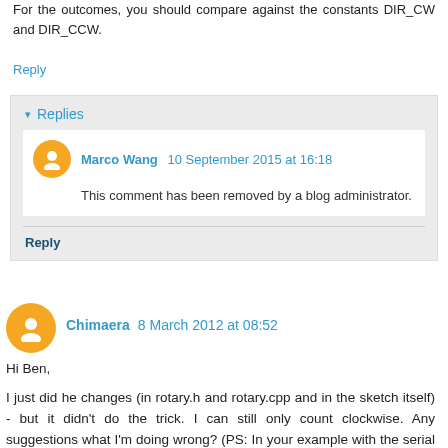For the outcomes, you should compare against the constants DIR_CW and DIR_CCW.
Reply
▾ Replies
Marco Wang  10 September 2015 at 16:18
This comment has been removed by a blog administrator.
Reply
Chimaera  8 March 2012 at 08:52
Hi Ben,
I just did he changes (in rotary.h and rotary.cpp and in the sketch itself) - but it didn't do the trick. I can still only count clockwise. Any suggestions what I'm doing wrong? (PS: In your example with the serial output it works perfectly.)